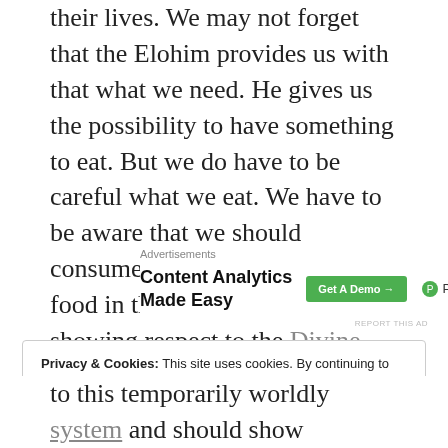their lives. We may not forget that the Elohim provides us with that what we need. He gives us the possibility to have something to eat. But we do have to be careful what we eat. We have to be aware that we should consume our worldly needs or food in the manner which is showing respect to the Divine Creator.
Advertisements
[Figure (other): Advertisement banner for Parse.ly: 'Content Analytics Made Easy' with a green 'Get A Demo →' button and Parse.ly logo]
REPORT THIS AD
Privacy & Cookies: This site uses cookies. By continuing to use this website, you agree to their use. To find out more, including how to control cookies, see here: Cookie Policy
Close and accept
to this temporarily worldly system and should show